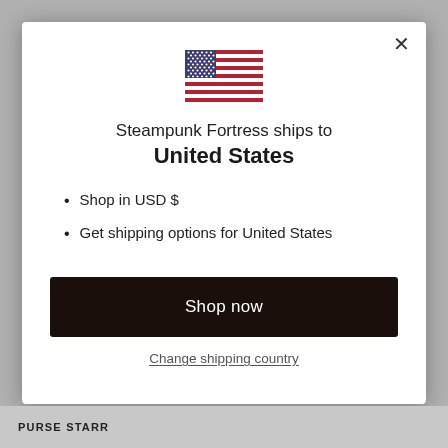[Figure (illustration): US flag emoji/icon — rectangular flag with blue canton containing white stars and red and white horizontal stripes]
Steampunk Fortress ships to
United States
Shop in USD $
Get shipping options for United States
Shop now
Change shipping country
PURSE STARR